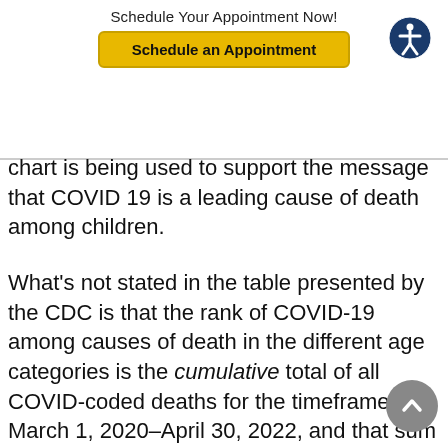Schedule Your Appointment Now!
chart is being used to support the message that COVID 19 is a leading cause of death among children.
What's not stated in the table presented by the CDC is that the rank of COVID-19 among causes of death in the different age categories is the cumulative total of all COVID-coded deaths for the timeframe of March 1, 2020–April 30, 2022, and that sum total across two years is compared to other causes of death for the single year 2019 when COVID deaths were not even counted. This is only one of the